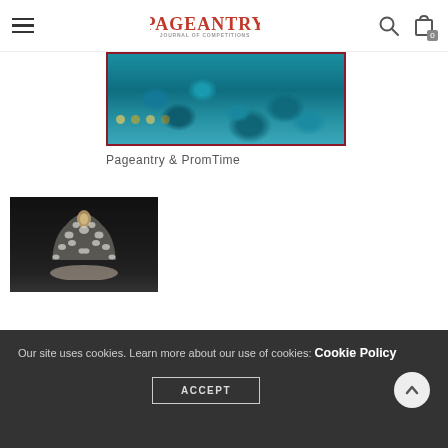PAGEANTRY — navigation header with hamburger menu, logo, search icon, and cart icon (0 items)
[Figure (photo): A blue ruffled fabric/dress photo with a dark background and warm light dots, bordered in dark red]
Pageantry & PromTime
[Figure (photo): A diamond/crystal tiara crown on a dark black background, held by a hand]
Our site uses cookies. Learn more about our use of cookies: Cookie Policy
ACCEPT